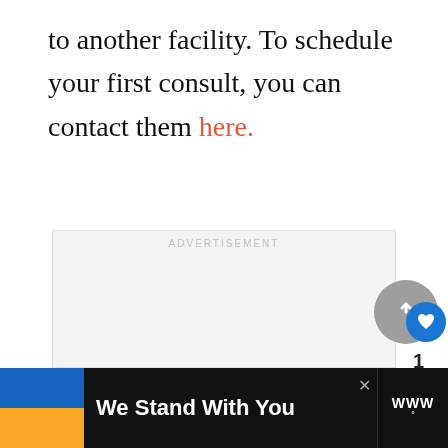to another facility. To schedule your first consult, you can contact them here.
[Figure (other): Advertisement placeholder box with label ADVERTISEMENT, UI interaction buttons (like, share), What's Next panel showing Aggressive Dog Training, and bottom banner with Ukrainian flag colors and text We Stand With You]